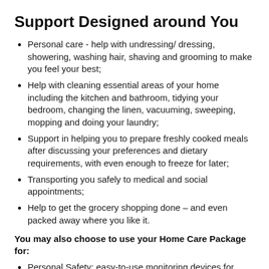Support Designed around You
Personal care - help with undressing/ dressing, showering, washing hair, shaving and grooming to make you feel your best;
Help with cleaning essential areas of your home including the kitchen and bathroom, tidying your bedroom, changing the linen, vacuuming, sweeping, mopping and doing your laundry;
Support in helping you to prepare freshly cooked meals after discussing your preferences and dietary requirements, with even enough to freeze for later;
Transporting you safely to medical and social appointments;
Help to get the grocery shopping done – and even packed away where you like it.
You may also choose to use your Home Care Package for:
Personal Safety: easy-to-use monitoring devices for